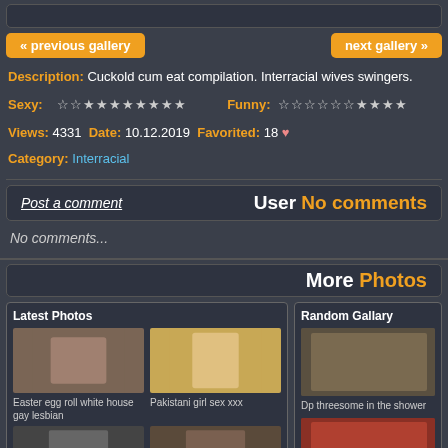« previous gallery | next gallery »
Description: Cuckold cum eat compilation. Interracial wives swingers.
Sexy: ☆☆★★★★★★★★  Funny: ☆☆☆☆☆☆★★★★
Views: 4331  Date: 10.12.2019  Favorited: 18 ❤  Category: Interracial
Post a comment  User No comments
No comments...
More Photos
Latest Photos
Easter egg roll white house gay lesbian
Pakistani girl sex xxx
Random Gallary
Dp threesome in the shower